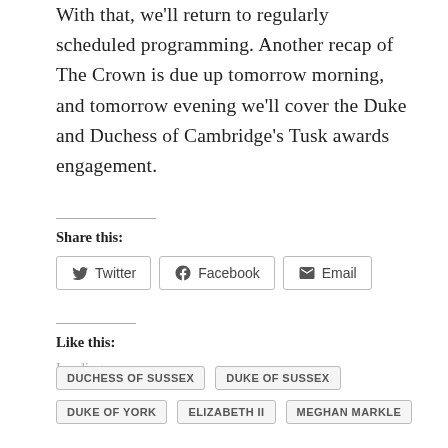With that, we'll return to regularly scheduled programming. Another recap of The Crown is due up tomorrow morning, and tomorrow evening we'll cover the Duke and Duchess of Cambridge's Tusk awards engagement.
Share this:
[Figure (other): Social share buttons: Twitter, Facebook, Email]
Like this:
Loading...
DUCHESS OF SUSSEX
DUKE OF SUSSEX
DUKE OF YORK
ELIZABETH II
MEGHAN MARKLE